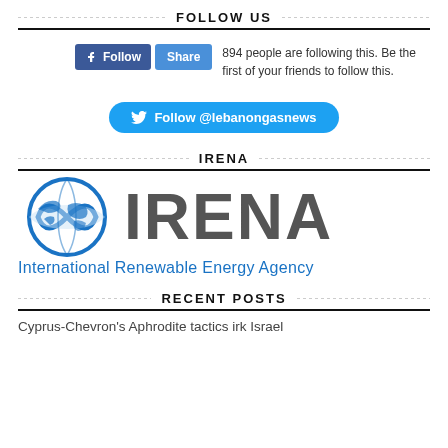FOLLOW US
[Figure (screenshot): Facebook Follow and Share buttons with text: 894 people are following this. Be the first of your friends to follow this.]
[Figure (screenshot): Twitter Follow button: Follow @lebanongasnews]
IRENA
[Figure (logo): IRENA - International Renewable Energy Agency logo with infinity-globe icon and large grey IRENA wordmark and blue tagline]
RECENT POSTS
Cyprus-Chevron's Aphrodite tactics irk Israel